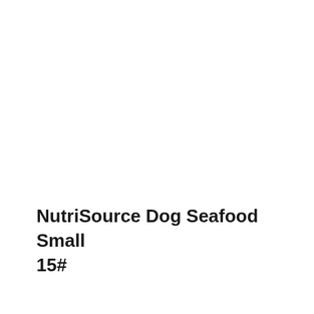NutriSource Dog Seafood Small 15#